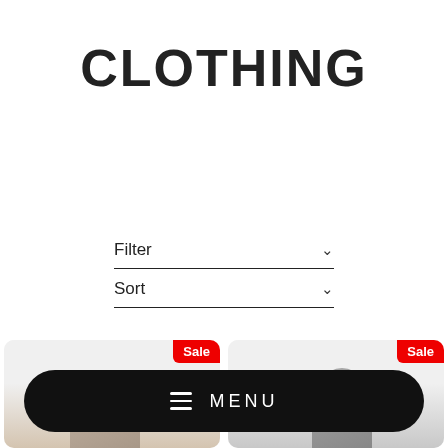CLOTHING
Filter
Sort
[Figure (screenshot): Two product cards each with a red 'Sale' badge in the top right corner, showing clothing product images partially visible at the bottom of the page.]
MENU